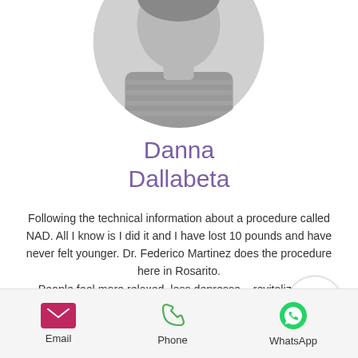[Figure (photo): Circular cropped black and white profile photo of a woman]
Danna Dallabeta
Following the technical information about a procedure called NAD. All I know is I did it and I have lost 10 pounds and have never felt younger. Dr. Federico Martinez does the procedure here in Rosarito. People feel more relaxed, less depressed, revitalized. In synthesis NAD+ therapy b... all our our cells, all our organs and biological
[Figure (other): Scroll up chevron button (circle with upward arrow)]
Email
Phone
WhatsApp